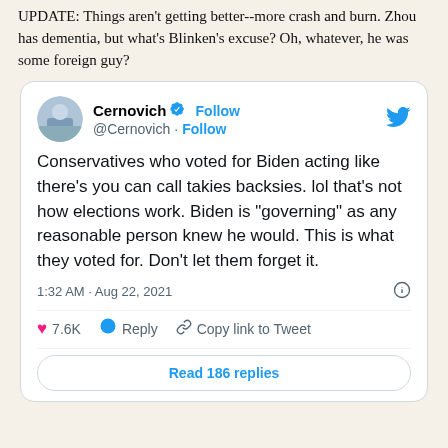UPDATE: Things aren't getting better--more crash and burn. Zhou has dementia, but what's Blinken's excuse? Oh, whatever, he was some foreign guy?
[Figure (screenshot): Embedded tweet from @Cernovich (verified account). Tweet text: 'Conservatives who voted for Biden acting like there's you can call takies backsies. lol that's not how elections work. Biden is "governing" as any reasonable person knew he would. This is what they voted for. Don't let them forget it.' Posted at 1:32 AM · Aug 22, 2021. 7.6K likes. Options: Reply, Copy link to Tweet, Read 186 replies.]